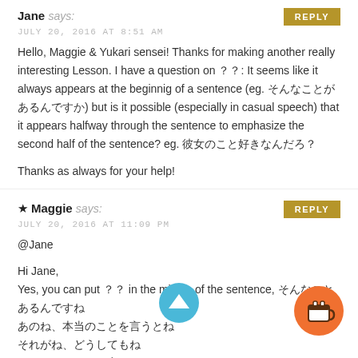Jane says:
JULY 20, 2016 AT 8:51 AM
Hello, Maggie & Yukari sensei! Thanks for making another really interesting Lesson. I have a question on ？？: It seems like it always appears at the beginnig of a sentence (eg. そんなことがあるんですか) but is it possible (especially in casual speech) that it appears halfway through the sentence to emphasize the second half of the sentence? eg. 彼女のこと好きなんだろ？

Thanks as always for your help!
Maggie says:
JULY 20, 2016 AT 11:09 PM
@Jane

Hi Jane,
Yes, you can put ？？ in the middle of the sentence, そんなことあるんですね
あのね、本当のことを言うとね
それがね、どうしてもね
そうなんですよ、実はね
そうじゃないんですよ、やっぱりね